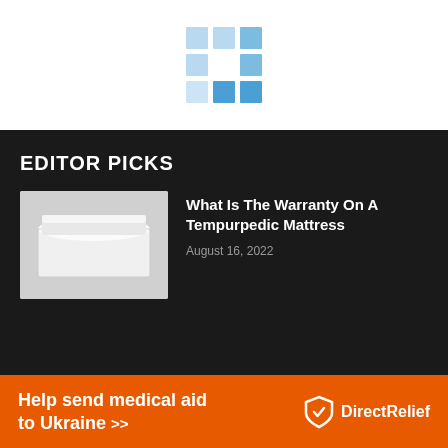[Figure (logo): Grid/mosaic logo made of blue and light blue squares with white center]
EDITOR PICKS
[Figure (photo): Photo of a white Tempurpedic mattress on a light background]
What Is The Warranty On A Tempurpedic Mattress
August 16, 2022
[Figure (infographic): Orange Direct Relief advertisement banner: Help send medical aid to Ukraine >> with Direct Relief logo and shield icon]